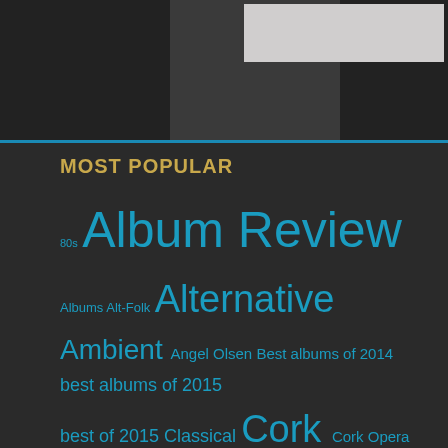[Figure (other): Dark header bar with a light gray rectangle in the top right corner and a darker panel section]
MOST POPULAR
80s Album Review Albums Alt-Folk Alternative Ambient Angel Olsen Best albums of 2014 best albums of 2015 best of 2015 Classical Cork Cork Opera House Dublin eighties Electronica Electronic Music Ethereal Father John Misty Festival Goth-Folk Hedge Schools Indie Indie Folk Indie Pop Indie Rock Instrumental Interview Irish Irish Rock Live Live at the Marquee Live Review Marissa Nadler Mew pixies Pop Post Punk Post Rock Punk Rock shoegaze Sufjan Stevens Swans The Smiths